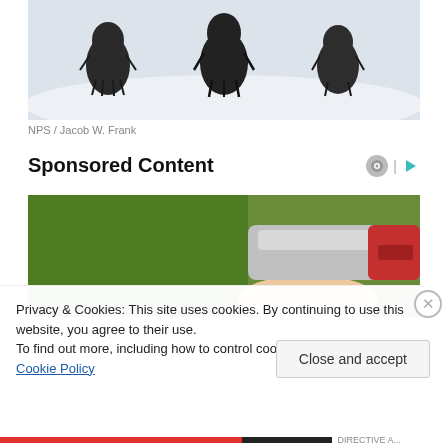[Figure (photo): Three dark shaggy dogs walking in snow, viewed from behind/front, snowy white background]
NPS / Jacob W. Frank
Sponsored Content
[Figure (photo): Close-up of a hand holding a metallic/silver object against a green background, with red elements visible]
Privacy & Cookies: This site uses cookies. By continuing to use this website, you agree to their use.
To find out more, including how to control cookies, see here: Cookie Policy